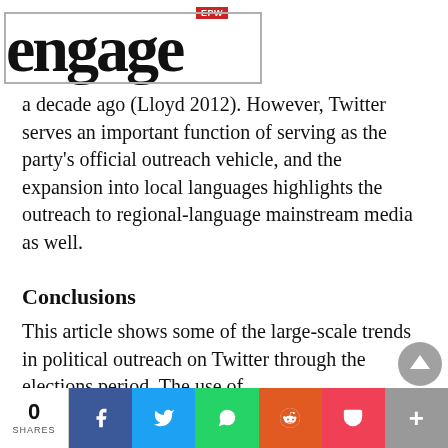EPW engage
a decade ago (Lloyd 2012). However, Twitter serves an important function of serving as the party’s official outreach vehicle, and the expansion into local languages highlights the outreach to regional-language mainstream media as well.
Conclusions
This article shows some of the large-scale trends in political outreach on Twitter through the elections period. The use of
0 SHARES | Facebook | Twitter | WhatsApp | Reddit | Pocket | More